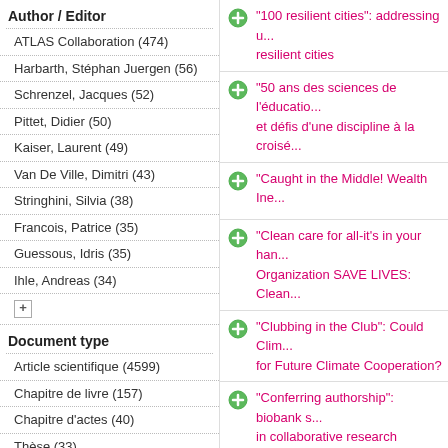Author / Editor
ATLAS Collaboration (474)
Harbarth, Stéphan Juergen (56)
Schrenzel, Jacques (52)
Pittet, Didier (50)
Kaiser, Laurent (49)
Van De Ville, Dimitri (43)
Stringhini, Silvia (38)
Francois, Patrice (35)
Guessous, Idris (35)
Ihle, Andreas (34)
Document type
Article scientifique (4599)
Chapitre de livre (157)
Chapitre d'actes (40)
Thèse (33)
Article professionnel (22)
Présentation / Intervention (15)
"100 resilient cities": addressing u... resilient cities
"50 ans des sciences de l'éducatio... et défis d'une discipline à la croisé...
"Caught in the Middle! Wealth Ine...
"Clean care for all-it's in your han... Organization SAVE LIVES: Clean...
"Clubbing in the Club": Could Clim... for Future Climate Cooperation?
"Conferring authorship": biobank s... in collaborative research
"French Phage Network" Annual C...
"Hard to say, hard to understand, l... neurologic language impairments